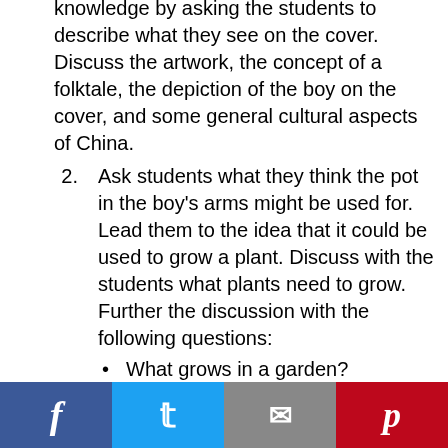knowledge by asking the students to describe what they see on the cover. Discuss the artwork, the concept of a folktale, the depiction of the boy on the cover, and some general cultural aspects of China.
Ask students what they think the pot in the boy's arms might be used for. Lead them to the idea that it could be used to grow a plant. Discuss with the students what plants need to grow. Further the discussion with the following questions:
What grows in a garden? (vegetables, fruits, flowers)
How do we get gardens to grow? (prepare the soil, sow the seeds,
[Figure (infographic): Social media sharing bar with Facebook, Twitter, Email, and Pinterest buttons]